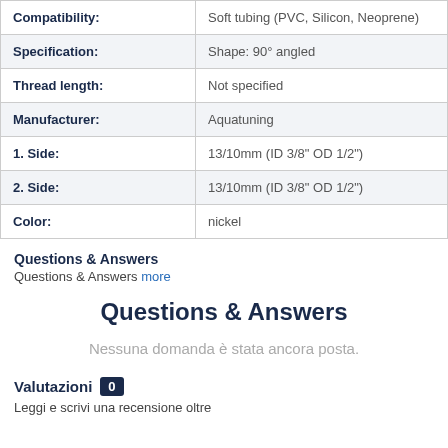| Property | Value |
| --- | --- |
| Compatibility: | Soft tubing (PVC, Silicon, Neoprene) |
| Specification: | Shape: 90° angled |
| Thread length: | Not specified |
| Manufacturer: | Aquatuning |
| 1. Side: | 13/10mm (ID 3/8" OD 1/2") |
| 2. Side: | 13/10mm (ID 3/8" OD 1/2") |
| Color: | nickel |
Questions & Answers
Questions & Answers more
Questions & Answers
Nessuna domanda è stata ancora posta.
Valutazioni  0
Leggi e scrivi una recensione oltre